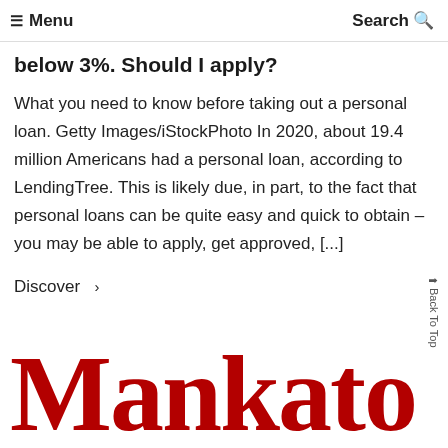☰ Menu   Search 🔍
below 3%. Should I apply?
What you need to know before taking out a personal loan. Getty Images/iStockPhoto In 2020, about 19.4 million Americans had a personal loan, according to LendingTree. This is likely due, in part, to the fact that personal loans can be quite easy and quick to obtain – you may be able to apply, get approved, [...]
Discover  ›
[Figure (logo): Partial 'Mankato' text logo in large bold red serif font, cropped at bottom of page]